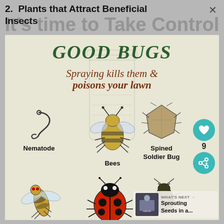2. Plants that Attract Beneficial Insects
It's time to Take Control of Your Finances!
[Figure (infographic): Good Bugs infographic showing beneficial insects: Nematode, Bees, Spined Soldier Bug, Syrphid Fly, Ground Beetle. Title reads 'GOOD BUGS' and subtitle 'Spraying kills them & poisons your lawn'. Background shows a reduction jar outline. Right side has heart button with count 9, share button, and 'WHAT'S NEXT' panel for 'Sprouting Seeds in a...']